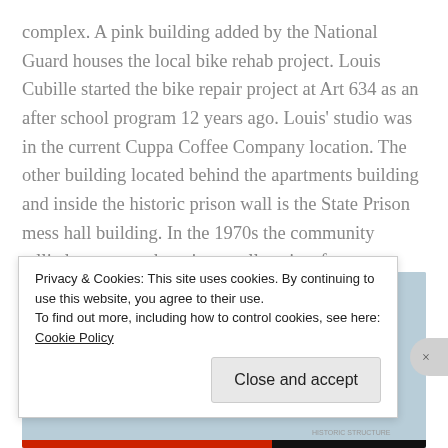complex.  A pink building added by the National Guard houses the local bike rehab project.  Louis Cubille started the bike repair project at Art 634 as an after school program 12 years ago.  Louis' studio was in the current Cuppa Coffee Company location.  The other building located behind the apartments building and inside the historic prison wall is the State Prison mess hall building. In the 1970s the community rallied to protect the prison wall against forces wanting to tear it down.
[Figure (photo): Partial photo of a building with blue-grey sky background, showing a dark stone or brick tower/chimney structure. A red bar appears at the bottom of the image.]
Privacy & Cookies: This site uses cookies. By continuing to use this website, you agree to their use.
To find out more, including how to control cookies, see here: Cookie Policy
Close and accept